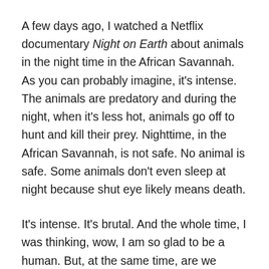A few days ago, I watched a Netflix documentary Night on Earth about animals in the night time in the African Savannah. As you can probably imagine, it's intense. The animals are predatory and during the night, when it's less hot, animals go off to hunt and kill their prey. Nighttime, in the African Savannah, is not safe. No animal is safe. Some animals don't even sleep at night because shut eye likely means death.
It's intense. It's brutal. And the whole time, I was thinking, wow, I am so glad to be a human. But, at the same time, are we humans much different than these animals? Are the fear centers of our brains that much far off from animals? Don't we also make decisions out of a place of fear? Like when we stock up on toilet paper, or gas, or worry about inflation. What are we afraid of though? What's the worst thing that will